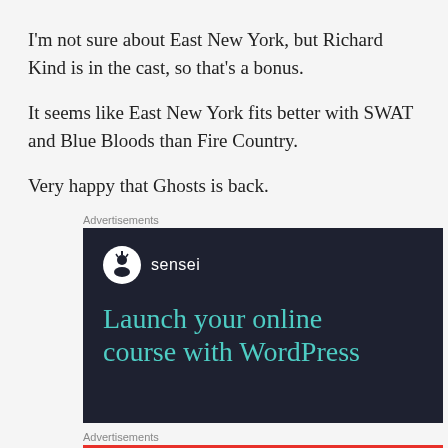I'm not sure about East New York, but Richard Kind is in the cast, so that's a bonus.
It seems like East New York fits better with SWAT and Blue Bloods than Fire Country.
Very happy that Ghosts is back.
Advertisements
[Figure (other): Sensei advertisement: dark navy background with sensei logo (tree in circle) and text 'Launch your online course with WordPress' in teal color]
Advertisements
[Figure (other): Pocket Casts advertisement: red background with text 'An app by listeners, for listeners.' and Pocket Casts logo with phone image]